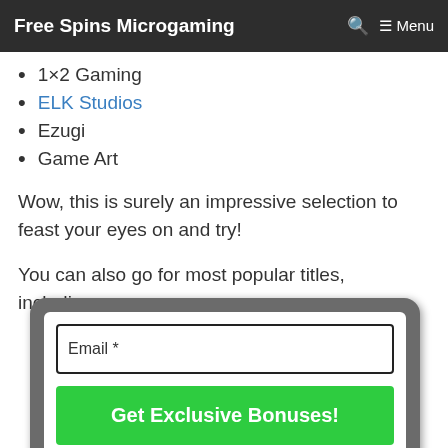Free Spins Microgaming  Menu
1×2 Gaming
ELK Studios
Ezugi
Game Art
Wow, this is surely an impressive selection to feast your eyes on and try!
You can also go for most popular titles, including:
[Figure (screenshot): A popup/modal overlay containing an email input field labeled 'Email *' and a bright green call-to-action button labeled 'Get Exclusive Bonuses!']